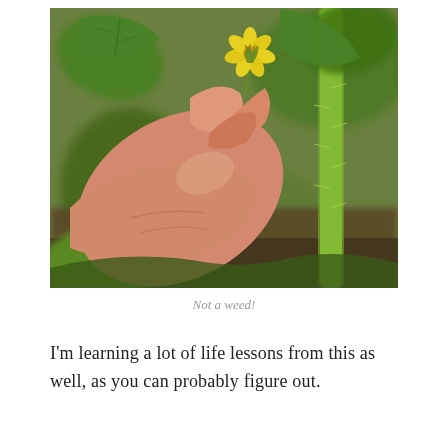[Figure (photo): A hand holding a small yellow tomato flower among green tomato plant leaves and stems, with a blurred background of soil and foliage.]
Not a weed!
I'm learning a lot of life lessons from this as well, as you can probably figure out.